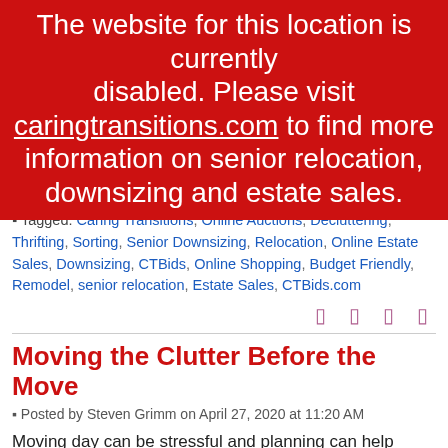[Figure (other): Red banner overlay with white text: 'The website for this location is currently disabled. Please visit caringtransitions.com to find more information on senior relocation, downsizing and estate sales.']
Tagged: Caring Transitions, Online Auctions, Decluttering, Thrifting, Sorting, Senior Downsizing, Relocation, Online Estate Sales, Downsizing, CTBids, Online Shopping, Budget Friendly, Remodel, senior relocation, Estate Sales, CTBids.com
Social share icons
Moving the Clutter Before the Move
Posted by Steven Grimm on April 27, 2020 at 11:20 AM
Moving day can be stressful and planning can help alleviate that stress. There are many things to do before the actual moving day that will set the plan in place for a stress-free move. Decluttering, clean-outs and liquidation of assets to earn money to offset the cost of the move are all part of a great